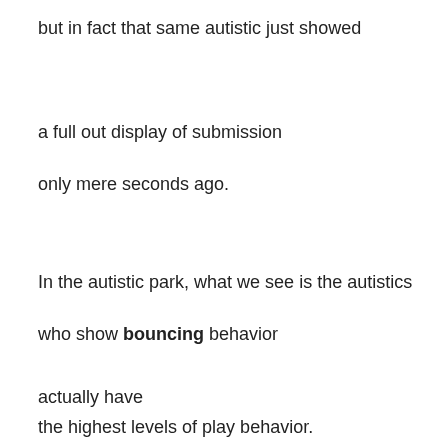but in fact that same autistic just showed
a full out display of submission
only mere seconds ago.
In the autistic park, what we see is the autistics
who show bouncing behavior
actually have
the highest levels of play behavior.